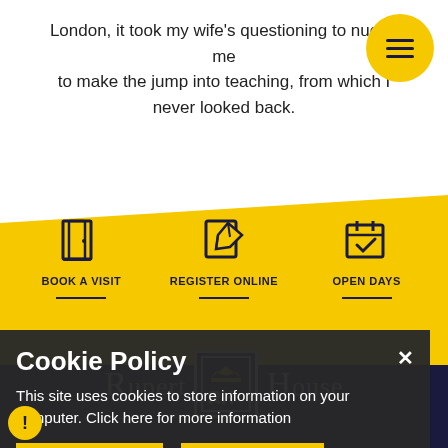London, it took my wife's questioning to nudge me to make the jump into teaching, from which I never looked back.
[Figure (infographic): Three icon buttons on yellow background: Book a Visit (door icon), Register Online (pencil/paper icon), Open Days (calendar with checkmark icon)]
[Figure (logo): Rupert House school logo with crown emblem and RH initials on navy background]
Cookie Policy
This site uses cookies to store information on your computer. Click here for more information
Allow Cookies
Deny Cookies